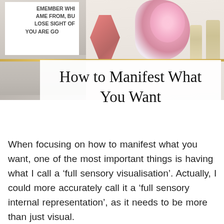[Figure (photo): Flatlay desk photo background: on the left a motivational poster with text about remembering where you came from, glasses, papers; on the right pink flowers in a vase, glass bottles with cork stoppers on a white surface.]
How to Manifest What You Want
When focusing on how to manifest what you want, one of the most important things is having what I call a ‘full sensory visualisation’. Actually, I could more accurately call it a ‘full sensory internal representation’, as it needs to be more than just visual.